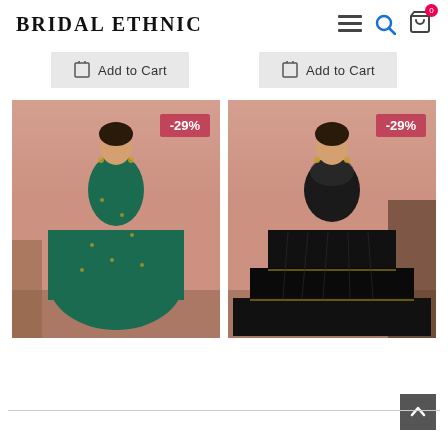Bridal Ethnic
Add to Cart
Add to Cart
[Figure (photo): Woman wearing a teal/dark green embroidered floor-length anarkali gown with short sleeves, standing against a pink wall with a -29% discount badge]
[Figure (photo): Woman wearing a black tiered floor-length gown with sheer embellished neckline and short sleeves, standing against a pink wall with a -29% discount badge]